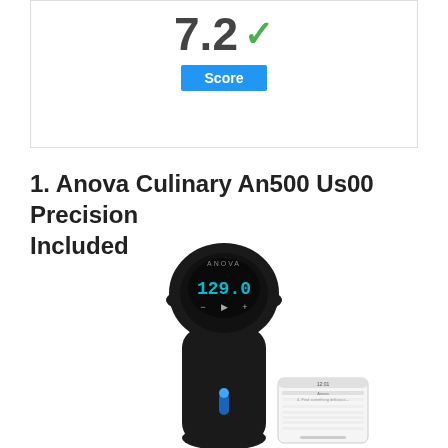[Figure (other): Score display box showing 7.2 with a green checkmark and a blue 'Score' label button]
1. Anova Culinary An500 Us00 Precision Included
[Figure (photo): Photo of Anova Culinary precision cooker (sous vide immersion circulator) in black, showing digital display reading 129.0, with a smartphone app interface visible at the bottom right]